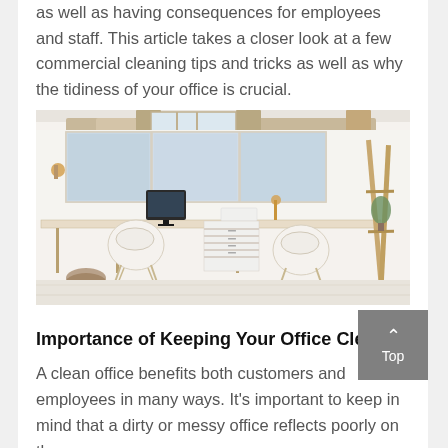as well as having consequences for employees and staff. This article takes a closer look at a few commercial cleaning tips and tricks as well as why the tidiness of your office is crucial.
[Figure (photo): A bright, modern office workspace with white desks, white chairs, wooden beam ceiling, large windows, a computer monitor, and a white drawer unit in the center.]
Importance of Keeping Your Office Clean
A clean office benefits both customers and employees in many ways. It's important to keep in mind that a dirty or messy office reflects poorly on the